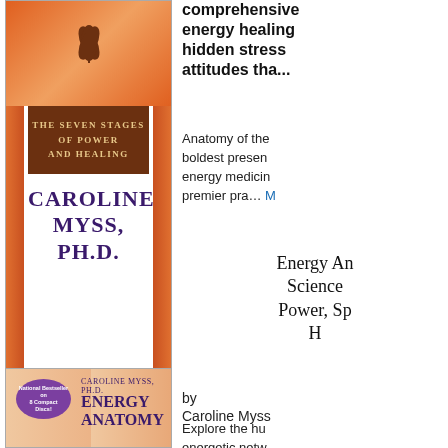[Figure (photo): Book cover: The Seven Stages of Power and Healing by Caroline Myss, Ph.D. — orange/floral background with brown banner and purple author name text]
comprehensive energy healing hidden stress attitudes tha...
Anatomy of the boldest presen energy medicin premier pra...
Energy An Science Power, Sp H
by
Caroline Myss
Explore the hu energetic netw Caroline Myss
[Figure (photo): Book cover: Energy Anatomy by Caroline Myss, Ph.D. — shows a human figure with energetic/chakra markings, purple badge reading National Bestseller on 8 Compact Discs]